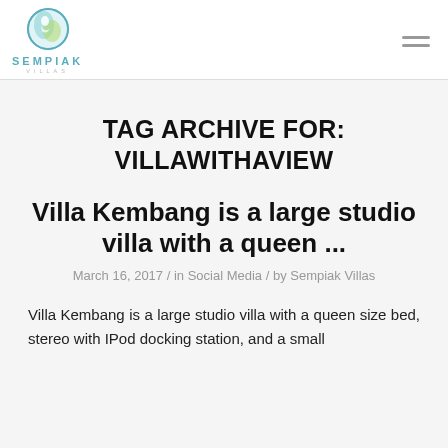[Figure (logo): Sempiak Villas logo: circular globe-like icon with teal and green colors, text SEMPIAK in teal bold letters, VILLAS in small spaced gray letters beneath]
TAG ARCHIVE FOR: VILLAWITHAVIEW
Villa Kembang is a large studio villa with a queen ...
March 16, 2017 / in Social Media / by Sempiak Villas
Villa Kembang is a large studio villa with a queen size bed, stereo with IPod docking station, and a small